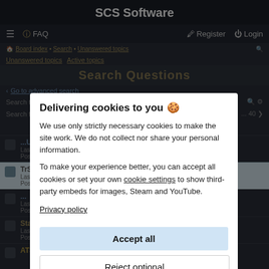SCS Software
[Figure (screenshot): Website navigation bar with hamburger menu, FAQ link, Register and Login buttons]
[Figure (screenshot): Background forum page showing breadcrumbs, search results, and topic listings blurred behind cookie popup]
Delivering cookies to you 🍪
We use only strictly necessary cookies to make the site work. We do not collect nor share your personal information.
To make your experience better, you can accept all cookies or set your own cookie settings to show third-party embeds for images, Steam and YouTube.
Privacy policy
Accept all
Reject optional